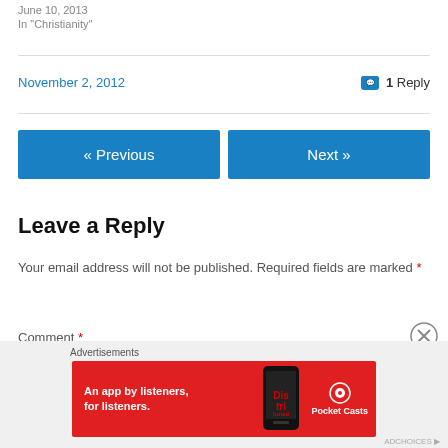June 10, 2013
In "Christianity"
November 2, 2012
1 Reply
« Previous
Next »
Leave a Reply
Your email address will not be published. Required fields are marked *
Comment *
[Figure (screenshot): Advertisement banner for Pocket Casts app: red background with text 'An app by listeners, for listeners.' and Pocket Casts logo]